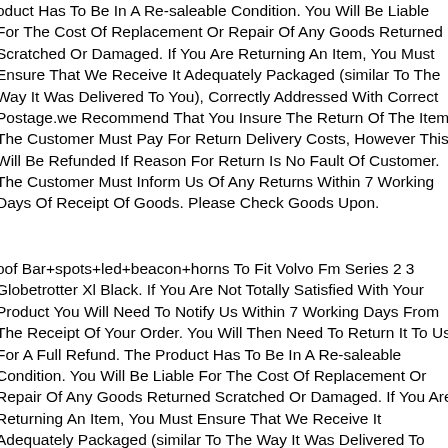oduct Has To Be In A Re-saleable Condition. You Will Be Liable For The Cost Of Replacement Or Repair Of Any Goods Returned Scratched Or Damaged. If You Are Returning An Item, You Must Ensure That We Receive It Adequately Packaged (similar To The Way It Was Delivered To You), Correctly Addressed With Correct Postage.we Recommend That You Insure The Return Of The Item. The Customer Must Pay For Return Delivery Costs, However This Will Be Refunded If Reason For Return Is No Fault Of Customer. The Customer Must Inform Us Of Any Returns Within 7 Working Days Of Receipt Of Goods. Please Check Goods Upon.
oof Bar+spots+led+beacon+horns To Fit Volvo Fm Series 2 3 Globetrotter Xl Black. If You Are Not Totally Satisfied With Your Product You Will Need To Notify Us Within 7 Working Days From The Receipt Of Your Order. You Will Then Need To Return It To Us For A Full Refund. The Product Has To Be In A Re-saleable Condition. You Will Be Liable For The Cost Of Replacement Or Repair Of Any Goods Returned Scratched Or Damaged. If You Are Returning An Item, You Must Ensure That We Receive It Adequately Packaged (similar To The Way It Was Delivered To You), Correctly Addressed With Correct Postage.we Recommend That You Insure The Return Of The Item. The Customer